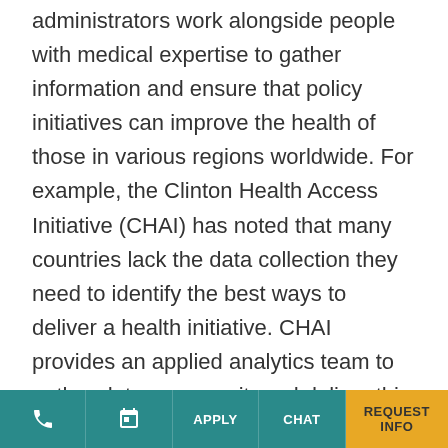administrators work alongside people with medical expertise to gather information and ensure that policy initiatives can improve the health of those in various regions worldwide. For example, the Clinton Health Access Initiative (CHAI) has noted that many countries lack the data collection they need to identify the best ways to deliver a health initiative. CHAI provides an applied analytics team to gather data, process it, and deliver this information to decision-makers in the country. With this additional support, policy-makers are able to make more educated decisions about the health needs of their citizens.
Food Security: A major component of health in
phone | calendar | APPLY | CHAT | REQUEST INFO